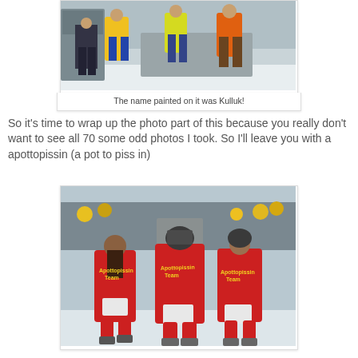[Figure (photo): People in high-visibility vests and winter clothing working outdoors in snow, pushing or pulling something. A red X is visible on a container.]
The name painted on it was Kulluk!
So it's time to wrap up the photo part of this because you really don't want to see all 70 some odd photos I took. So I'll leave you with a apottopissin (a pot to piss in)
[Figure (photo): Three people in red jumpsuits labeled 'Apottopissin Team' running away from camera in a snowy outdoor event with a crowd in the background.]